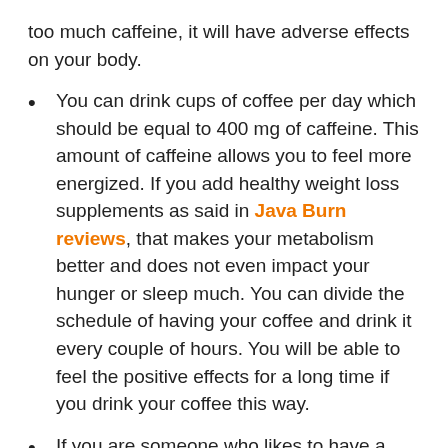too much caffeine, it will have adverse effects on your body.
You can drink cups of coffee per day which should be equal to 400 mg of caffeine. This amount of caffeine allows you to feel more energized. If you add healthy weight loss supplements as said in Java Burn reviews, that makes your metabolism better and does not even impact your hunger or sleep much. You can divide the schedule of having your coffee and drink it every couple of hours. You will be able to feel the positive effects for a long time if you drink your coffee this way.
If you are someone who likes to have a strong coffee, then you must restrict yourself to less